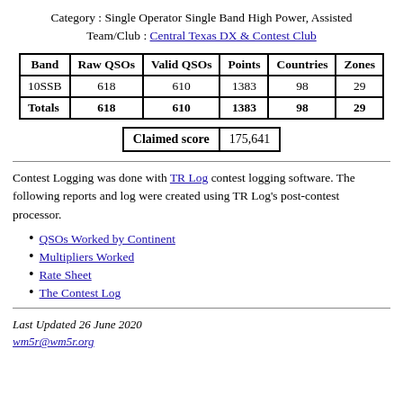Category : Single Operator Single Band High Power, Assisted
Team/Club : Central Texas DX & Contest Club
| Band | Raw QSOs | Valid QSOs | Points | Countries | Zones |
| --- | --- | --- | --- | --- | --- |
| 10SSB | 618 | 610 | 1383 | 98 | 29 |
| Totals | 618 | 610 | 1383 | 98 | 29 |
Claimed score 175,641
Contest Logging was done with TR Log contest logging software. The following reports and log were created using TR Log's post-contest processor.
QSOs Worked by Continent
Multipliers Worked
Rate Sheet
The Contest Log
Last Updated 26 June 2020
wm5r@wm5r.org